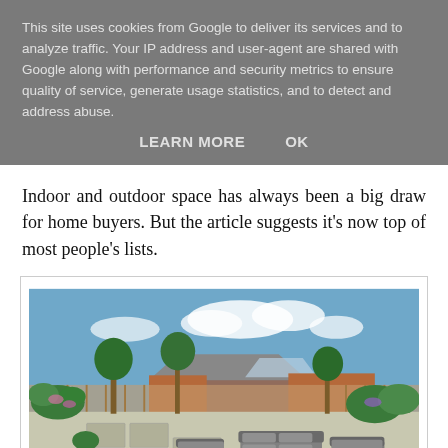This site uses cookies from Google to deliver its services and to analyze traffic. Your IP address and user-agent are shared with Google along with performance and security metrics to ensure quality of service, generate usage statistics, and to detect and address abuse.
LEARN MORE    OK
Indoor and outdoor space has always been a big draw for home buyers. But the article suggests it's now top of most people's lists.
[Figure (photo): Outdoor garden patio area of a new-build home with patio furniture (sofa and armchairs), gravel and paving, ornamental trees, flower borders, wooden fencing, and a brick house with a glass conservatory roof in the background under a blue sky with clouds.]